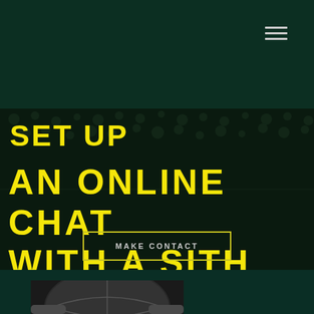[Figure (screenshot): Website screenshot with dark green background and hamburger menu icon in top right corner]
SET UP
AN ONLINE CHAT WITH A SITH
MAKE CONTACT
[Figure (photo): Black and white photo of hands holding a basketball, partially visible at bottom of page]